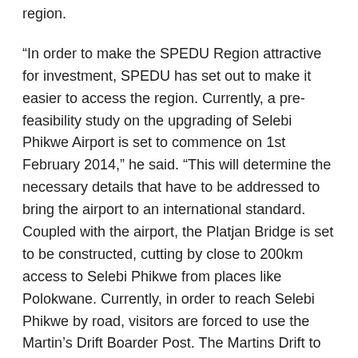region.
“In order to make the SPEDU Region attractive for investment, SPEDU has set out to make it easier to access the region. Currently, a pre-feasibility study on the upgrading of Selebi Phikwe Airport is set to commence on 1st February 2014,” he said. “This will determine the necessary details that have to be addressed to bring the airport to an international standard. Coupled with the airport, the Platjan Bridge is set to be constructed, cutting by close to 200km access to Selebi Phikwe from places like Polokwane. Currently, in order to reach Selebi Phikwe by road, visitors are forced to use the Martin’s Drift Boarder Post. The Martins Drift to Sefhophe road, which is currently in a very bad state, will also be upgraded with a contractor expected to be in place in three months.”